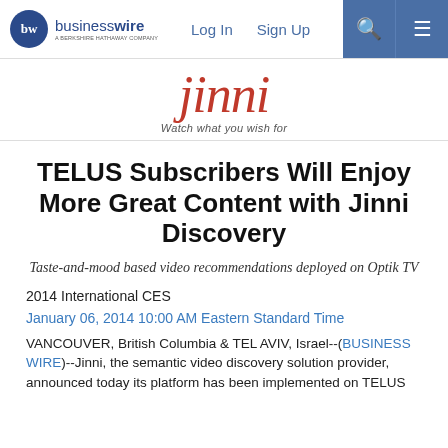businesswire — Log In  Sign Up
[Figure (logo): Jinni logo — red italic wordmark reading 'jinni' with tagline 'Watch what you wish for']
TELUS Subscribers Will Enjoy More Great Content with Jinni Discovery
Taste-and-mood based video recommendations deployed on Optik TV
2014 International CES
January 06, 2014 10:00 AM Eastern Standard Time
VANCOUVER, British Columbia & TEL AVIV, Israel--(BUSINESS WIRE)--Jinni, the semantic video discovery solution provider, announced today its platform has been implemented on TELUS